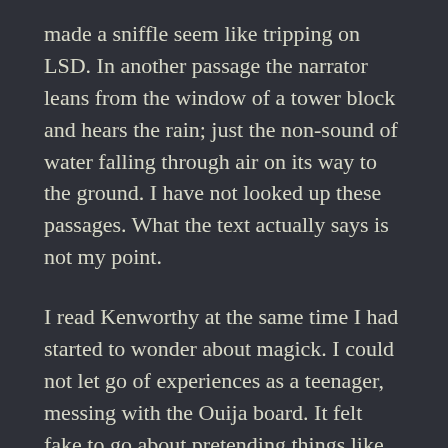made a sniffle seem like tripping on LSD. In another passage the narrator leans from the window of a tower block and hears the rain; just the non-sound of water falling through air on its way to the ground. I have not looked up these passages. What the text actually says is not my point.
I read Kenworthy at the same time I had started to wonder about magick. I could not let go of experiences as a teenager, messing with the Ouija board. It felt fake to go about pretending things like that did not happen. I wondered if magick were a way to cause those things, rather than just waiting and hoping for the miraculous. Kenworthy seemed to hint